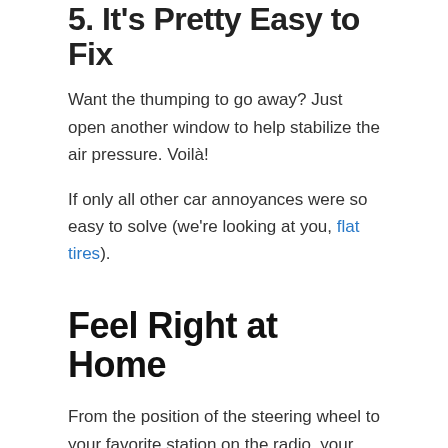5. It's Pretty Easy to Fix
Want the thumping to go away? Just open another window to help stabilize the air pressure. Voilà!
If only all other car annoyances were so easy to solve (we're looking at you, flat tires).
Feel Right at Home
From the position of the steering wheel to your favorite station on the radio, your car is your safe haven on the road – even with a little wind buffeting along the way. We want you to feel just as comfortable with your auto insurance coverage.